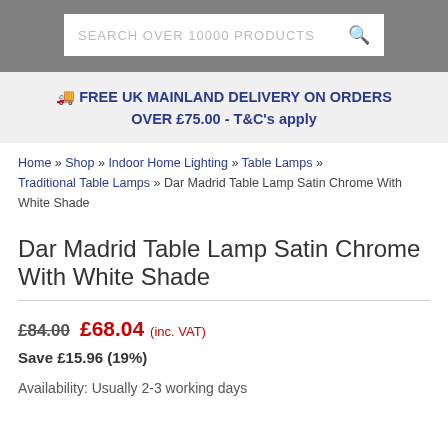SEARCH OVER 10000 PRODUCTS
FREE UK MAINLAND DELIVERY ON ORDERS OVER £75.00 - T&C's apply
Home » Shop » Indoor Home Lighting » Table Lamps » Traditional Table Lamps » Dar Madrid Table Lamp Satin Chrome With White Shade
Dar Madrid Table Lamp Satin Chrome With White Shade
£84.00  £68.04 (inc. VAT)
Save £15.96 (19%)
Availability: Usually 2-3 working days